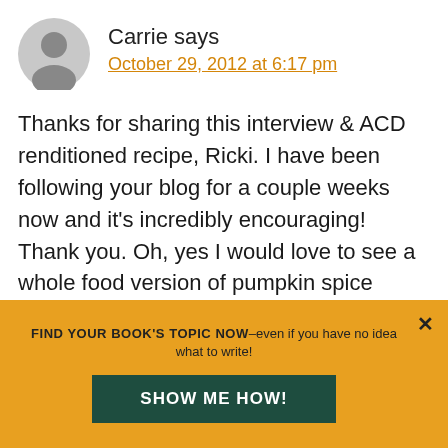Carrie says
October 29, 2012 at 6:17 pm
Thanks for sharing this interview & ACD renditioned recipe, Ricki. I have been following your blog for a couple weeks now and it's incredibly encouraging! Thank you. Oh, yes I would love to see a whole food version of pumpkin spice cupcakes and faux cream cheese frosting.
FIND YOUR BOOK'S TOPIC NOW–even if you have no idea what to write!
SHOW ME HOW!